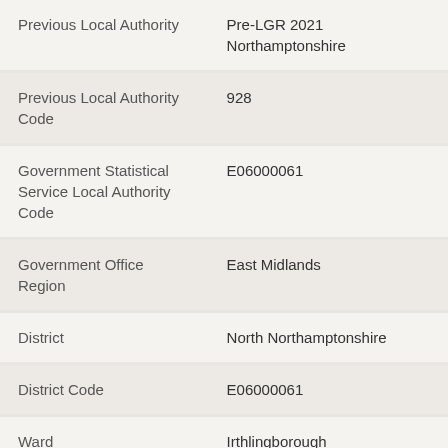| Field | Value |
| --- | --- |
| Previous Local Authority | Pre-LGR 2021 Northamptonshire |
| Previous Local Authority Code | 928 |
| Government Statistical Service Local Authority Code | E06000061 |
| Government Office Region | East Midlands |
| District | North Northamptonshire |
| District Code | E06000061 |
| Ward | Irthlingborough |